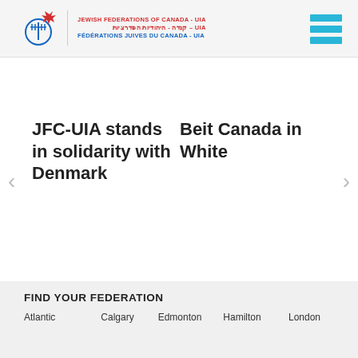[Figure (logo): Jewish Federations of Canada - UIA logo with maple leaf and text in English, Hebrew, and French]
JFC-UIA stands in solidarity with Denmark
Beit Canada in White
[Figure (infographic): Facebook and Twitter social media icon buttons]
FIND YOUR FEDERATION
Atlantic   Calgary   Edmonton   Hamilton   London